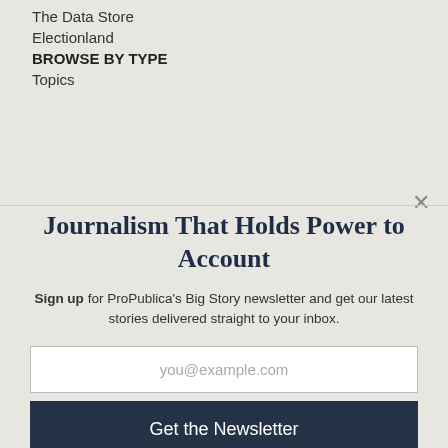The Data Store
Electionland
BROWSE BY TYPE
Topics
Journalism That Holds Power to Account
Sign up for ProPublica's Big Story newsletter and get our latest stories delivered straight to your inbox.
you@example.com
Get the Newsletter
No thanks, I'm all set
This site is protected by reCAPTCHA and the Google Privacy Policy and Terms of Service apply.